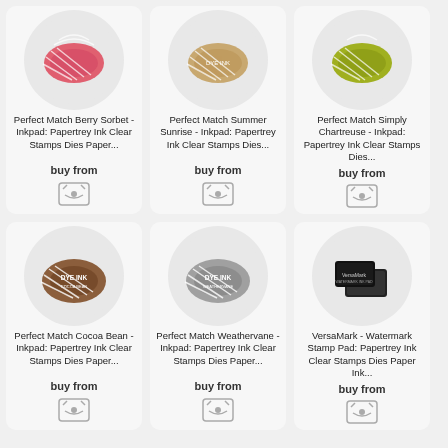[Figure (photo): Product card for Perfect Match Berry Sorbet inkpad with pink/red circular inkpad image]
Perfect Match Berry Sorbet - Inkpad: Papertrey Ink Clear Stamps Dies Paper...
buy from
[Figure (logo): Papertrey Ink shop logo icon]
[Figure (photo): Product card for Perfect Match Summer Sunrise inkpad with tan/gold circular inkpad image]
Perfect Match Summer Sunrise - Inkpad: Papertrey Ink Clear Stamps Dies...
buy from
[Figure (logo): Papertrey Ink shop logo icon]
[Figure (photo): Product card for Perfect Match Simply Chartreuse inkpad with yellow-green circular inkpad image]
Perfect Match Simply Chartreuse - Inkpad: Papertrey Ink Clear Stamps Dies...
buy from
[Figure (logo): Papertrey Ink shop logo icon]
[Figure (photo): Product card for Perfect Match Cocoa Bean inkpad with brown oval inkpad labeled DYE INK]
Perfect Match Cocoa Bean - Inkpad: Papertrey Ink Clear Stamps Dies Paper...
buy from
[Figure (logo): Papertrey Ink shop logo icon]
[Figure (photo): Product card for Perfect Match Weathervane inkpad with gray oval inkpad labeled DYE INK]
Perfect Match Weathervane - Inkpad: Papertrey Ink Clear Stamps Dies Paper...
buy from
[Figure (logo): Papertrey Ink shop logo icon]
[Figure (photo): Product card for VersaMark Watermark Stamp Pad with black rectangular inkpad]
VersaMark - Watermark Stamp Pad: Papertrey Ink Clear Stamps Dies Paper Ink...
buy from
[Figure (logo): Papertrey Ink shop logo icon]